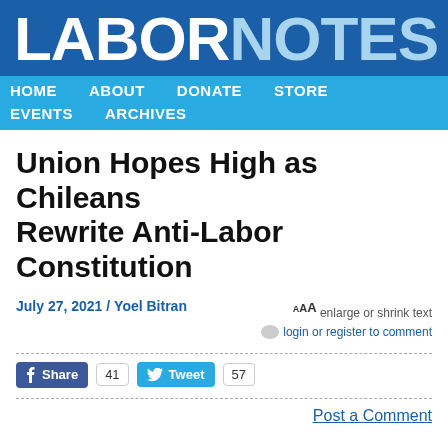LABORNOTES
HOME   ABOUT   DONATE   STORE   EVENTS   ARCHIVES
Union Hopes High as Chileans Rewrite Anti-Labor Constitution
July 27, 2021 / Yoel Bitran
AAA enlarge or shrink text
login or register to comment
Share 41   Tweet 57
Post a Comment